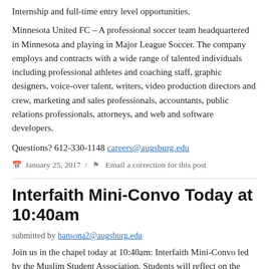Internship and full-time entry level opportunities.
Minnesota United FC – A professional soccer team headquartered in Minnesota and playing in Major League Soccer. The company employs and contracts with a wide range of talented individuals including professional athletes and coaching staff, graphic designers, voice-over talent, writers, video production directors and crew, marketing and sales professionals, accountants, public relations professionals, attorneys, and web and software developers.
Questions? 612-330-1148 careers@augsburg.edu
January 25, 2017  /  Email a correction for this post
Interfaith Mini-Convo Today at 10:40am
submitted by hansona2@augsburg.edu
Join us in the chapel today at 10:40am: Interfaith Mini-Convo led by the Muslim Student Association. Students will reflect on the 15th MAS-ICNA (The Muslim American Society and Islamic Circle...